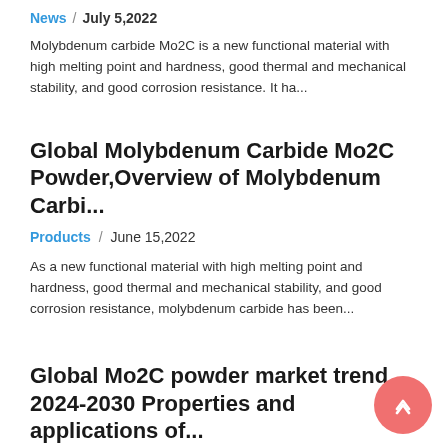News / July 5,2022
Molybdenum carbide Mo2C is a new functional material with high melting point and hardness, good thermal and mechanical stability, and good corrosion resistance. It ha...
Global Molybdenum Carbide Mo2C Powder,Overview of Molybdenum Carbi...
Products / June 15,2022
As a new functional material with high melting point and hardness, good thermal and mechanical stability, and good corrosion resistance, molybdenum carbide has been...
Global Mo2C powder market trend 2024-2030 Properties and applications of...